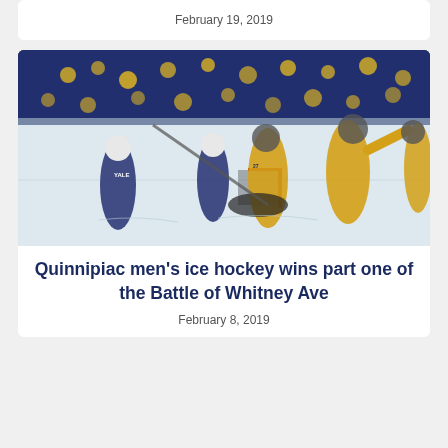February 19, 2019
[Figure (photo): Ice hockey game photo showing Quinnipiac players in gold jerseys celebrating after scoring against Yale players in dark navy jerseys near the goal. Crowd visible in background with blue and gold colors.]
Quinnipiac men's ice hockey wins part one of the Battle of Whitney Ave
February 8, 2019